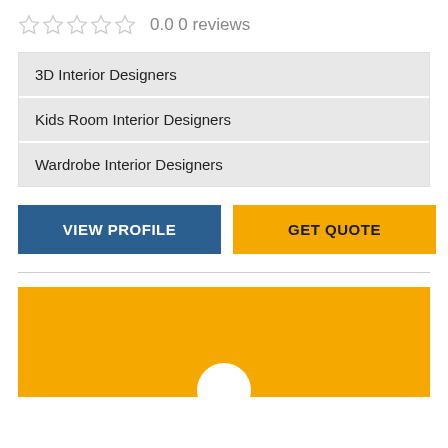0.0 0 reviews
3D Interior Designers
Kids Room Interior Designers
Wardrobe Interior Designers
VIEW PROFILE
GET QUOTE
[Figure (illustration): Yellow banner with a partially visible white circle at the bottom center]